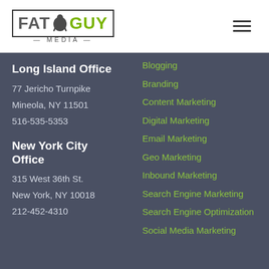[Figure (logo): Fat Guy Media logo with stylized text and character icon inside a rectangular border]
Long Island Office
77 Jericho Turnpike
Mineola, NY 11501
516-535-5353
New York City Office
315 West 36th St.
New York, NY 10018
212-452-4310
Blogging
Branding
Content Marketing
Digital Marketing
Email Marketing
Geo Marketing
Inbound Marketing
Search Engine Marketing
Search Engine Optimization
Social Media Marketing